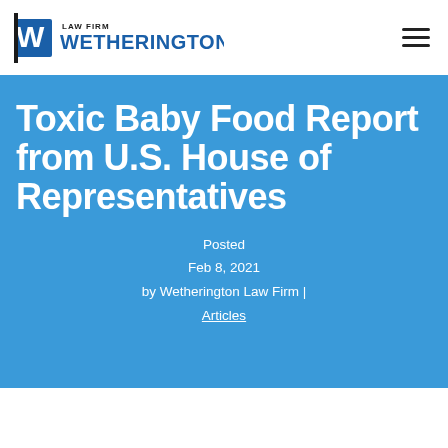[Figure (logo): Wetherington Law Firm logo with stylized W and text]
Toxic Baby Food Report from U.S. House of Representatives
Posted
Feb 8, 2021
by Wetherington Law Firm |
Articles